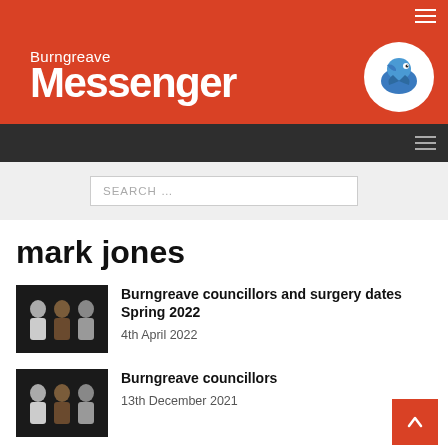Burngreave Messenger
mark jones
Burngreave councillors and surgery dates Spring 2022
4th April 2022
Burngreave councillors
13th December 2021